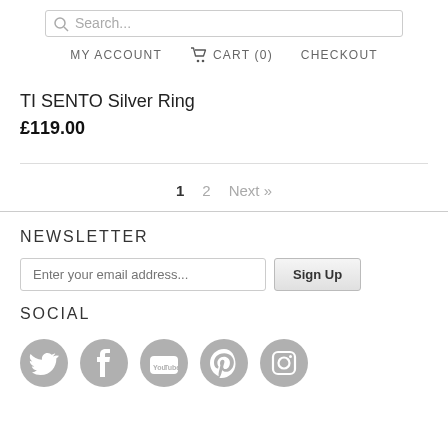Search... MY ACCOUNT CART (0) CHECKOUT
TI SENTO Silver Ring
£119.00
1  2  Next »
NEWSLETTER
Enter your email address...  Sign Up
SOCIAL
[Figure (illustration): Social media icons: Twitter, Facebook, YouTube, Pinterest, Instagram — grey circular icons]